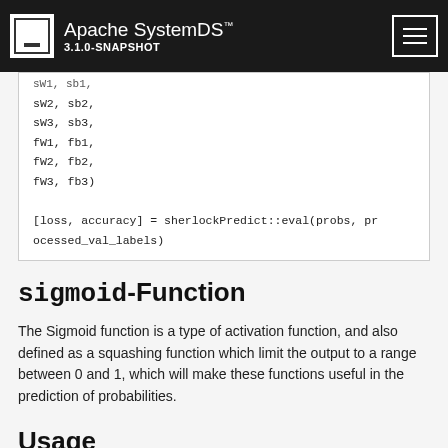Apache SystemDS™ 3.1.0-SNAPSHOT
sW2,  sb2,
sW3,  sb3,
fW1,  fb1,
fW2,  fb2,
fW3,  fb3)

[loss, accuracy] = sherlockPredict::eval(probs, processed_val_labels)
sigmoid-Function
The Sigmoid function is a type of activation function, and also defined as a squashing function which limit the output to a range between 0 and 1, which will make these functions useful in the prediction of probabilities.
Usage